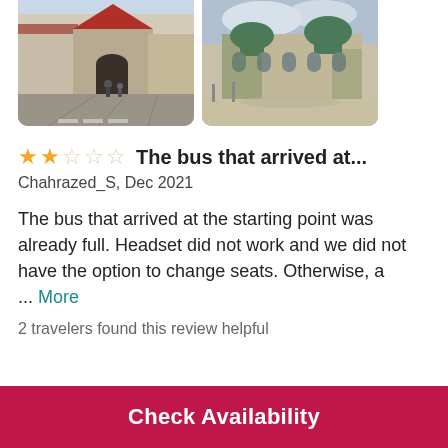[Figure (photo): Two travel photos side by side: left shows a cobblestone street with historic buildings and an archway; right shows a grand historic building with green domes and ivy-covered walls]
★★☆☆☆  The bus that arrived at...
Chahrazed_S, Dec 2021
The bus that arrived at the starting point was already full. Headset did not work and we did not have the option to change seats. Otherwise, a ... More
2 travelers found this review helpful
Check Availability